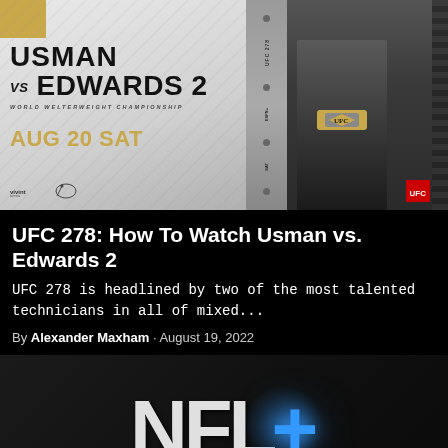[Figure (photo): UFC 278 promotional poster showing Usman vs Edwards 2, World Welterweight Championship, Aug 20 Sat, with two fighters standing back to back, one holding the UFC championship belt. Vivint arena logo visible at bottom left.]
UFC 278: How To Watch Usman vs. Edwards 2
UFC 278 is headlined by two of the most talented technicians in all of mixed...
By Alexander Maxham · August 19, 2022
[Figure (logo): NFL+ logo — large white letters NFL with a blue glowing plus sign, on a dark background.]